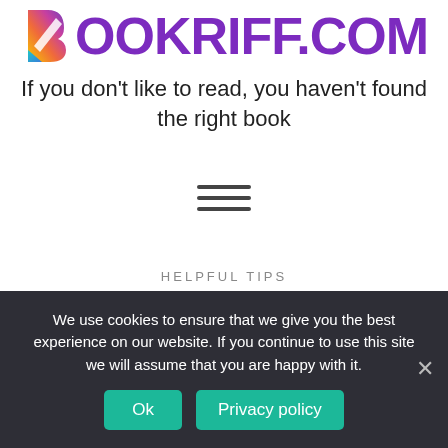[Figure (logo): Bookriff.com logo with colorful B icon and purple wordmark text]
If you don't like to read, you haven't found the right book
[Figure (other): Hamburger menu icon with three horizontal lines]
HELPFUL TIPS
We use cookies to ensure that we give you the best experience on our website. If you continue to use this site we will assume that you are happy with it.
Ok
Privacy policy